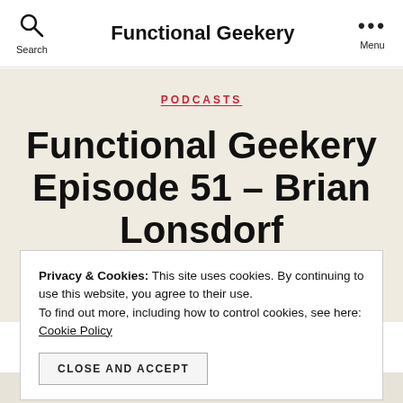Search | Functional Geekery | Menu
PODCASTS
Functional Geekery Episode 51 – Brian Lonsdorf
Privacy & Cookies: This site uses cookies. By continuing to use this website, you agree to their use. To find out more, including how to control cookies, see here: Cookie Policy
CLOSE AND ACCEPT
Functional Geekery